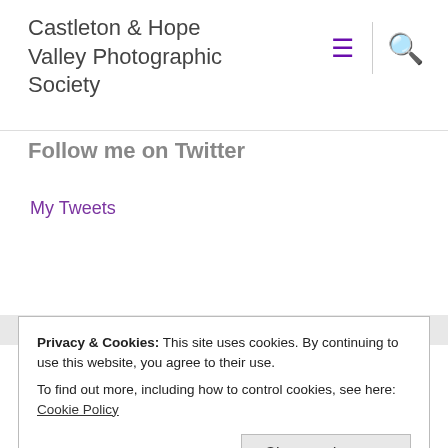Castleton & Hope Valley Photographic Society
Follow me on Twitter
My Tweets
Useful Links
Privacy & Cookies: This site uses cookies. By continuing to use this website, you agree to their use.
To find out more, including how to control cookies, see here: Cookie Policy
Close and accept